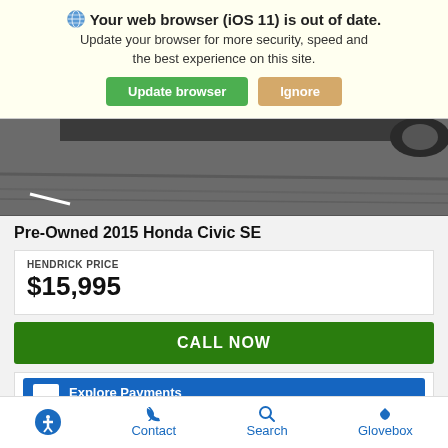Your web browser (iOS 11) is out of date. Update your browser for more security, speed and the best experience on this site.
Update browser
Ignore
[Figure (photo): Partial view of a car on a dark asphalt road, cropped showing mostly the road surface]
Pre-Owned 2015 Honda Civic SE
HENDRICK PRICE
$15,995
CALL NOW
Explore Payments
Contact  Search  Glovebox